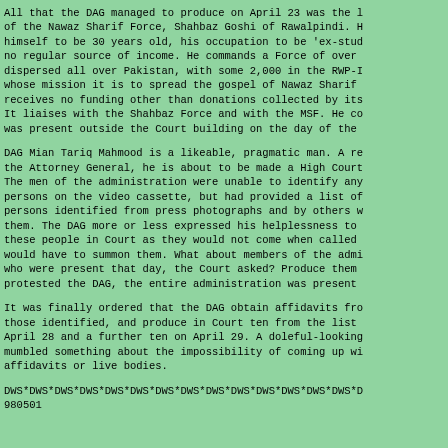All that the DAG managed to produce on April 23 was the leader of the Nawaz Sharif Force, Shahbaz Goshi of Rawalpindi. He stated himself to be 30 years old, his occupation to be 'ex-student' and no regular source of income. He commands a Force of over 30,000 dispersed all over Pakistan, with some 2,000 in the RWP-Isloo area, whose mission it is to spread the gospel of Nawaz Sharif and which receives no funding other than donations collected by its members. It liaises with the Shahbaz Force and with the MSF. He confirmed he was present outside the Court building on the day of the incident.
DAG Mian Tariq Mahmood is a likeable, pragmatic man. A recommendation to the Attorney General, he is about to be made a High Court judge. The men of the administration were unable to identify any of the persons on the video cassette, but had provided a list of persons identified from press photographs and by others who recognised them. The DAG more or less expressed his helplessness to produce these people in Court as they would not come when called and the Court would have to summon them. What about members of the administration who were present that day, the Court asked? Produce them. 'But', protested the DAG, the entire administration was present that day.
It was finally ordered that the DAG obtain affidavits from those identified, and produce in Court ten from the list on April 28 and a further ten on April 29. A doleful-looking DAG mumbled something about the impossibility of coming up with affidavits or live bodies.
DWS*DWS*DWS*DWS*DWS*DWS*DWS*DWS*DWS*DWS*DWS*DWS*DWS*DWS*DWS*D
980501